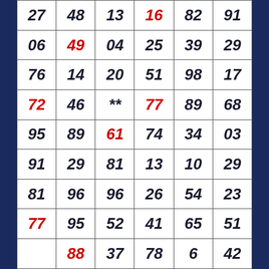|  |  |  |  |  |  |
| 27 | 48 | 13 | 16 | 82 | 91 |
| 06 | 49 | 04 | 25 | 39 | 29 |
| 76 | 14 | 20 | 51 | 98 | 17 |
| 72 | 46 | ** | 77 | 89 | 68 |
| 95 | 89 | 61 | 74 | 34 | 03 |
| 91 | 29 | 81 | 13 | 10 | 29 |
| 81 | 96 | 96 | 26 | 54 | 23 |
| 77 | 95 | 52 | 41 | 65 | 51 |
|  | 88 | 37 | 78 | 6 | 42 |
|  |  |  |  |  |  |